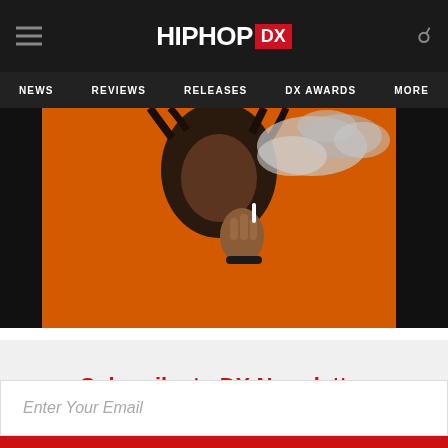HIPHOP DX — NEWS | REVIEWS | RELEASES | DX AWARDS | MORE
[Figure (photo): A man with dreadlocks exhaling smoke, photographed against a vivid orange background, cropped to show upper torso and head]
Subscribe to DX Newsletter
Get The Most Important Stories Of The Day Straight To Your Inbox
Enter Your Email